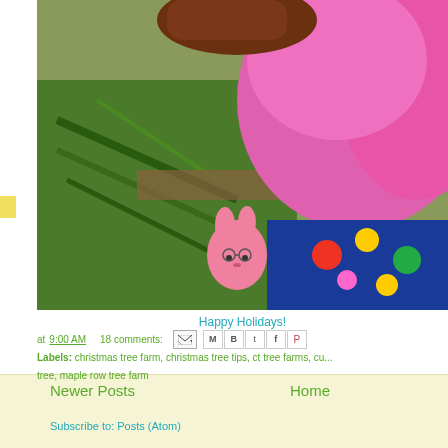[Figure (photo): A child wearing a pink fleece jacket and brown boots lies near pine tree branches and a colorful outfit. A pink stuffed bunny toy is visible. Outdoor holiday tree farm scene.]
Happy Holidays!
at 9:00 AM   18 comments:
Labels: christmas tree farm, christmas tree tips, ct tree farms, cu... tree, maple row tree farm
Newer Posts
Home
Subscribe to: Posts (Atom)